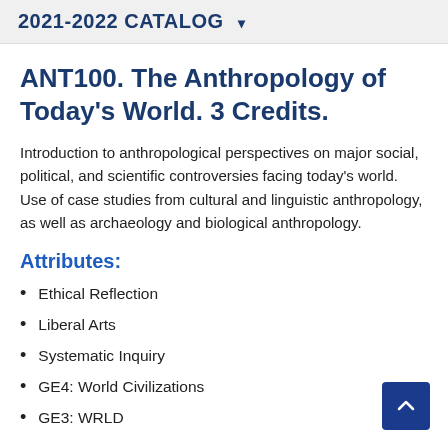2021-2022 CATALOG ▾
ANT100. The Anthropology of Today's World. 3 Credits.
Introduction to anthropological perspectives on major social, political, and scientific controversies facing today's world. Use of case studies from cultural and linguistic anthropology, as well as archaeology and biological anthropology.
Attributes:
Ethical Reflection
Liberal Arts
Systematic Inquiry
GE4: World Civilizations
GE3: WRLD